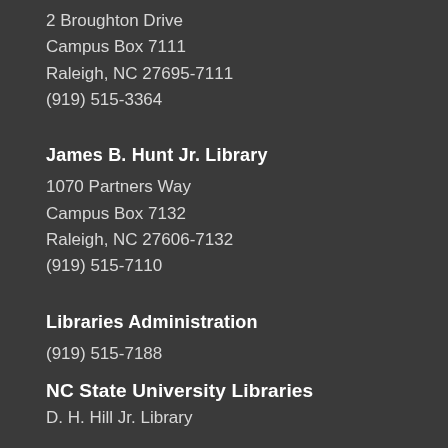2 Broughton Drive
Campus Box 7111
Raleigh, NC 27695-7111
(919) 515-3364
James B. Hunt Jr. Library
1070 Partners Way
Campus Box 7132
Raleigh, NC 27606-7132
(919) 515-7110
Libraries Administration
(919) 515-7188
NC State University Libraries
D. H. Hill Jr. Library